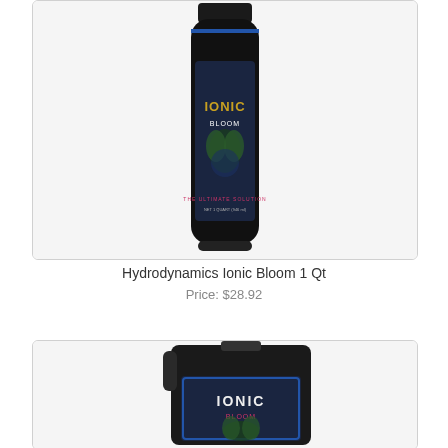[Figure (photo): Black cylindrical bottle of Hydrodynamics Ionic Bloom 1 Qt nutrient solution with dark label showing plant imagery]
Hydrodynamics Ionic Bloom 1 Qt
Price: $28.92
[Figure (photo): Large black square jug/container of Hydrodynamics Ionic Bloom nutrient solution with dark label showing plant imagery]